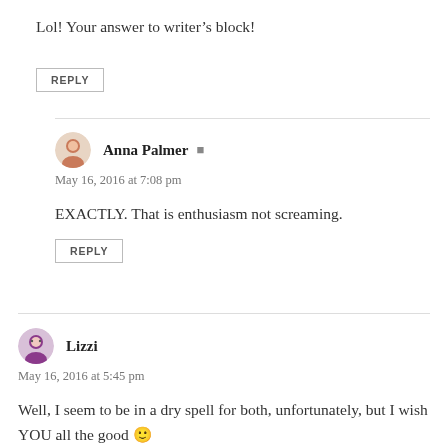Lol! Your answer to writer’s block!
REPLY
Anna Palmer
May 16, 2016 at 7:08 pm
EXACTLY. That is enthusiasm not screaming.
REPLY
Lizzi
May 16, 2016 at 5:45 pm
Well, I seem to be in a dry spell for both, unfortunately, but I wish YOU all the good 🙂